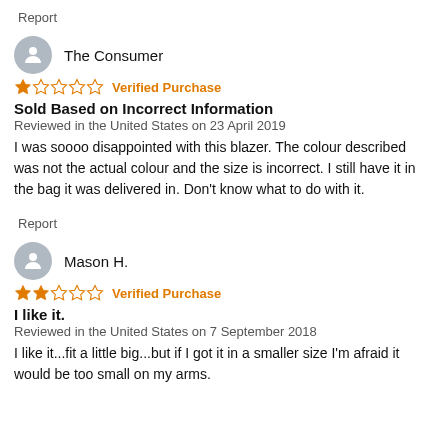Report
[Figure (illustration): Grey circular avatar icon with person silhouette]
The Consumer
[Figure (other): 1 out of 5 stars rating]
Verified Purchase
Sold Based on Incorrect Information
Reviewed in the United States on 23 April 2019
I was soooo disappointed with this blazer. The colour described was not the actual colour and the size is incorrect. I still have it in the bag it was delivered in. Don't know what to do with it.
Report
[Figure (illustration): Grey circular avatar icon with person silhouette]
Mason H.
[Figure (other): 2 out of 5 stars rating]
Verified Purchase
I like it.
Reviewed in the United States on 7 September 2018
I like it...fit a little big...but if I got it in a smaller size I'm afraid it would be too small on my arms.